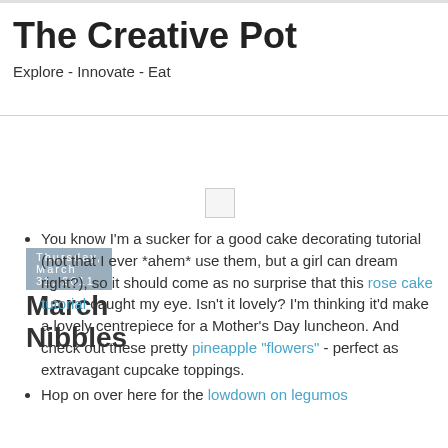The Creative Pot
Explore - Innovate - Eat
Thursday, March 31, 2011
March Nibbles
You know I'm a sucker for a good cake decorating tutorial (not that I ever *ahem* use them, but a girl can dream right?), so it should come as no surprise that this rose cake tutorial caught my eye. Isn't it lovely? I'm thinking it'd make a lovely centrepiece for a Mother's Day luncheon. And check out these pretty pineapple "flowers" - perfect as extravagant cupcake toppings.
Hop on over here for the lowdown on legumos